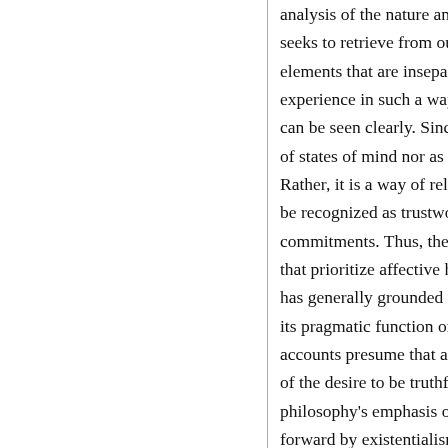analysis of the nature ano seeks to retrieve from ou elements that are insepan experience in such a way can be seen clearly. Since of states of mind nor as a Rather, it is a way of relati be recognized as trustwo commitments. Thus, the that prioritize affective hu has generally grounded t its pragmatic function or accounts presume that a of the desire to be truthfu philosophy's emphasis o forward by existentialism communicative truthfulne this debate by identifying